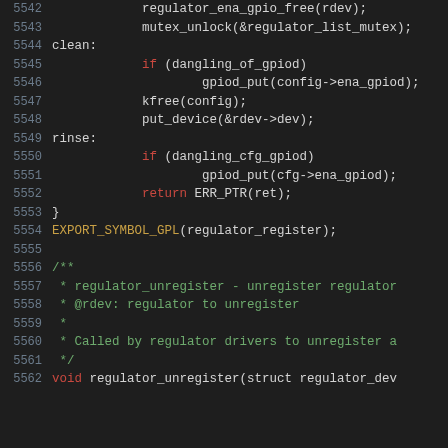[Figure (screenshot): Source code listing (C kernel code) showing lines 5542–5562 of a Linux regulator driver, including cleanup labels, GPIO put calls, EXPORT_SYMBOL_GPL macro, and start of regulator_unregister function with a doc comment.]